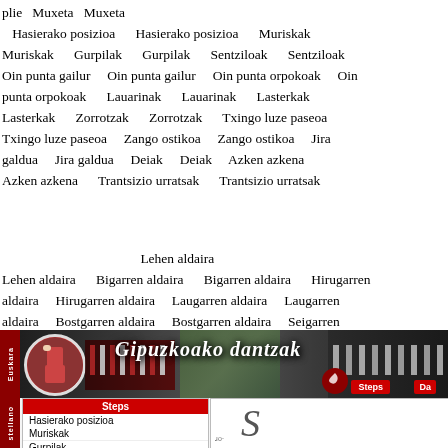plie  Muxeta  Muxeta  Hasierako posizioa  Hasierako posizioa  Muriskak  Muriskak  Gurpilak  Gurpilak  Sentziloak  Sentziloak  Oin punta gailur  Oin punta gailur  Oin punta orpokoak  Oin punta orpokoak  Lauarinak  Lauarinak  Lasterkak  Lasterkak  Zorrotzak  Zorrotzak  Txingo luze paseoa  Txingo luze paseoa  Zango ostikoa  Zango ostikoa  Jira galdua  Jira galdua  Deiak  Deiak  Azken azkena  Azken azkena  Trantsizio urratsak  Trantsizio urratsak
Lehen aldaira  Lehen aldaira  Bigarren aldaira  Bigarren aldaira  Hirugarren aldaira  Hirugarren aldaira  Laugarren aldaira  Laugarren aldaira  Bostgarren aldaira  Bostgarren aldaira  Seigarren aldaira  Seigarren aldaira
[Figure (screenshot): Website banner for Gipuzkoako dantzak (Basque dances) showing dancers in traditional costume, title text 'Gipuzkoako dantzak' in decorative script, Steps and Da navigation buttons, and Euskara language sidebar]
[Figure (screenshot): Website navigation menu showing 'Steps' header in red, with menu items: Hasierako posizioa, Muriskak, Gurpilak. Right panel shows a cursive letter S and page controls.]